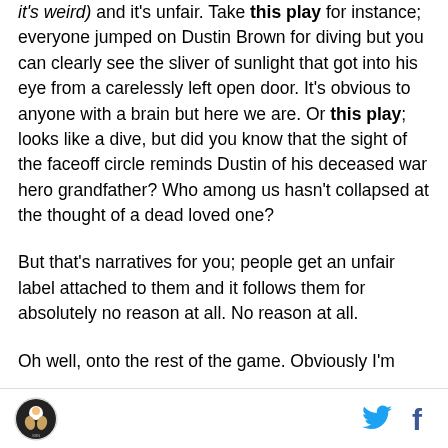it's weird) and it's unfair. Take this play for instance; everyone jumped on Dustin Brown for diving but you can clearly see the sliver of sunlight that got into his eye from a carelessly left open door. It's obvious to anyone with a brain but here we are. Or this play; looks like a dive, but did you know that the sight of the faceoff circle reminds Dustin of his deceased war hero grandfather? Who among us hasn't collapsed at the thought of a dead loved one?
But that's narratives for you; people get an unfair label attached to them and it follows them for absolutely no reason at all. No reason at all.
Oh well, onto the rest of the game. Obviously I'm